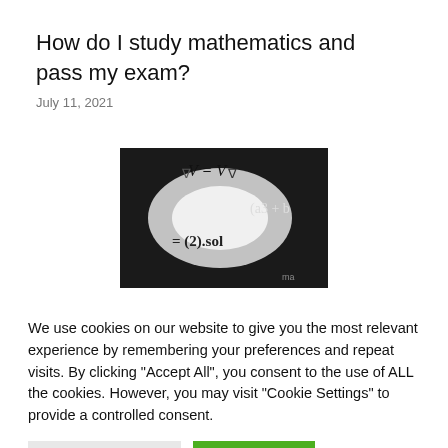How do I study mathematics and pass my exam?
July 11, 2021
[Figure (photo): Black and white photo of a chalkboard or projected math equations including expressions like V = V, (a3 + b), and = (2).sol]
We use cookies on our website to give you the most relevant experience by remembering your preferences and repeat visits. By clicking “Accept All”, you consent to the use of ALL the cookies. However, you may visit "Cookie Settings" to provide a controlled consent.